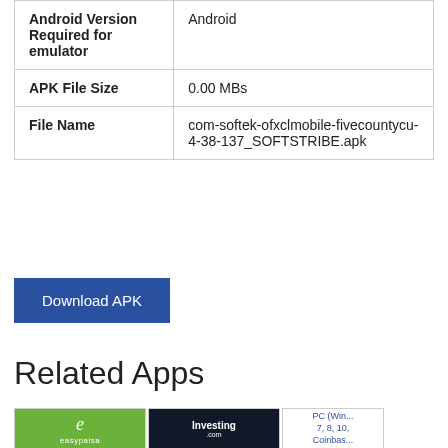|  |  |
| --- | --- |
| Android Version Required for emulator | Android |
| APK File Size | 0.00 MBs |
| File Name | com-softek-ofxclmobile-fivecountycu-4-38-137_SOFTSTRIBE.apk |
Download APK
Related Apps
[Figure (illustration): easypaisa app icon on green background]
[Figure (illustration): Investing.com app icon on dark background with yellow zigzag line]
[Figure (illustration): Coinbase for PC (Windows 7, 8, 10, ...) app icon placeholder with text]